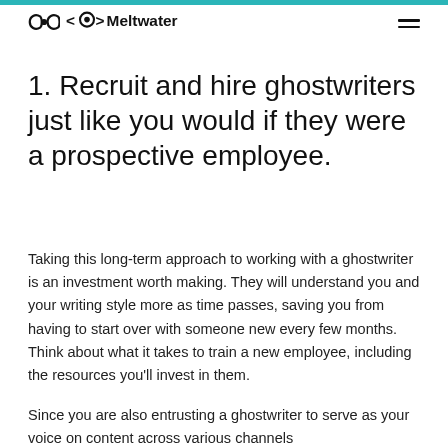Meltwater
1. Recruit and hire ghostwriters just like you would if they were a prospective employee.
Taking this long-term approach to working with a ghostwriter is an investment worth making. They will understand you and your writing style more as time passes, saving you from having to start over with someone new every few months. Think about what it takes to train a new employee, including the resources you'll invest in them.
Since you are also entrusting a ghostwriter to serve as your voice on content across various channels